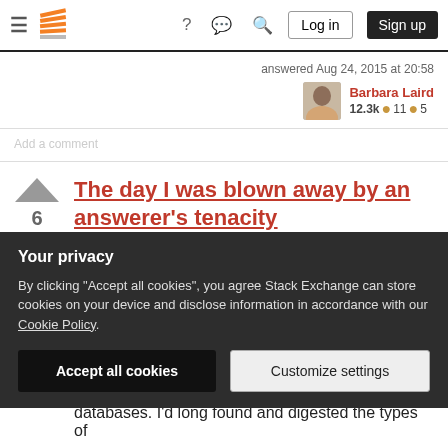Stack Exchange navigation bar with hamburger menu, logo, help, chat, search icons, Log in and Sign up buttons
answered Aug 24, 2015 at 20:58
Barbara Laird 12.3k ● 11 ● 5
Add a comment
The day I was blown away by an answerer's tenacity
With a single question and 192 answers, I'm far more used to helping others than being helped. However, my one question received a response that
Your privacy
By clicking "Accept all cookies", you agree Stack Exchange can store cookies on your device and disclose information in accordance with our Cookie Policy.
Accept all cookies
Customize settings
databases. I'd long found and digested the types of